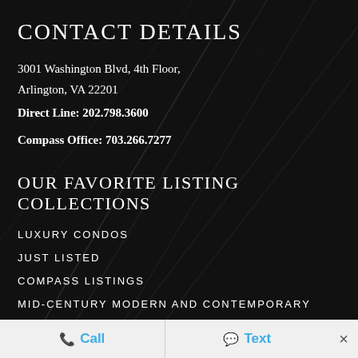CONTACT DETAILS
3001 Washington Blvd, 4th Floor,
Arlington, VA 22201
Direct Line: 202.798.3600
Compass Office: 703.266.7277
OUR FAVORITE LISTING COLLECTIONS
LUXURY CONDOS
JUST LISTED
COMPASS LISTINGS
MID-CENTURY MODERN AND CONTEMPORARY
Call   Text   ×